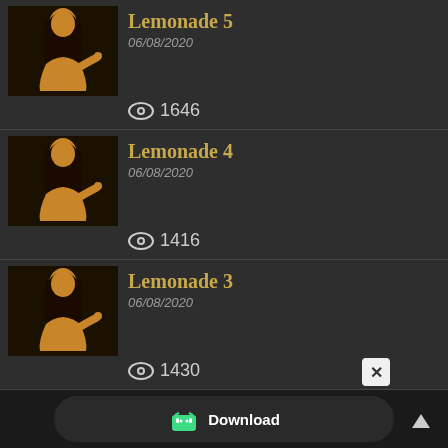Lemonade 5 | 06/08/2020 | Views: 1646
Lemonade 4 | 06/08/2020 | Views: 1416
Lemonade 3 | 06/08/2020 | Views: 1430
Lemonade 2 | 06/08/2020 | Views: 1597
[Figure (screenshot): Download button bar at bottom of screen with Android icon and close button]